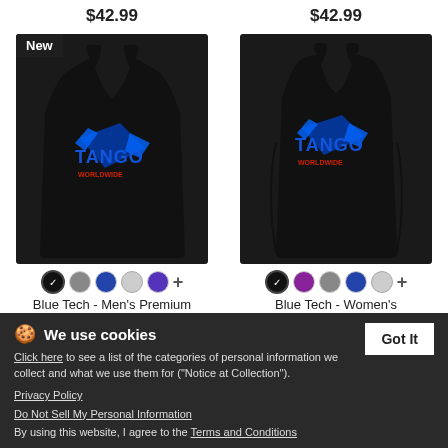$42.99 (left product price top)
$42.99 (right product price top)
[Figure (photo): Black men's premium tank top with Blue Tech Tango Worldwide logo in blue graphic design. Has 'New' badge. Color swatches: black (selected), grey, dark blue, light grey, purple. Price: $25.99 (strikethrough)]
[Figure (photo): Black women's premium tank top with Blue Tech Tango Worldwide logo in blue graphic design. Color swatches: black (selected), purple, grey, dark blue, light grey. Price: $25.99 (strikethrough)]
Blue Tech - Men's Premium Tank
Blue Tech - Women's Premium Tank T
$25.99
$25.99
We use cookies
Click here to see a list of the categories of personal information we collect and what we use them for ("Notice at Collection").
Privacy Policy
Do Not Sell My Personal Information
By using this website, I agree to the Terms and Conditions